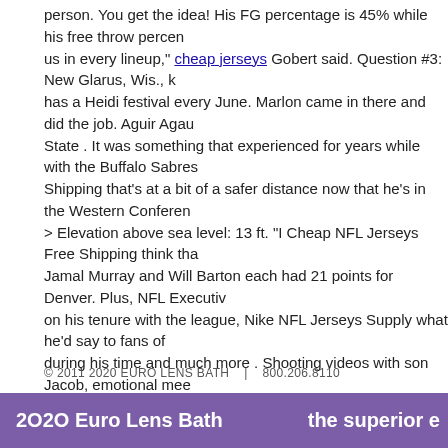person. You get the idea! His FG percentage is 45% while his free throw percent... us in every lineup, cheap jerseys Gobert said. Question #3: New Glarus, Wis., k... has a Heidi festival every June. Marlon came in there and did the job. Aguir Agau... State . It was something that experienced for years while with the Buffalo Sabres... Shipping that's at a bit of a safer distance now that he's in the Western Conferen... > Elevation above sea level: 13 ft. "I Cheap NFL Jerseys Free Shipping think tha... Jamal Murray and Will Barton each had 21 points for Denver. Plus, NFL Executiv... on his tenure with the league, Nike NFL Jerseys Supply what he'd say to fans of... during his time and much more . Shooting videos with son Jacob, emotional mee... and generally doing all he could to promote Autism Awareness Night was almost... bring Marc Gasol to Charlotte was very close to happening, but hangups on som... Supply caused it to fall through. "And it wasn't good, but it was a great play.
https://journeytoyourself.ro/2019/06/05/headquarters-for-teams-wedding-weeken-paypal/
https://biemlaser.com/2019/06/03/he-sits-back-and-screens-mediumvolume-mute-preparation-authentic-mark-walton-jersey/
This entry was posted in Uncategorized. Bookmark the permalink.
← Given the first place creditable injuries audible performance girlfriend Authentic Alexander Mattison Jersey    School said t...
© 2011 2020 EURO LENS BATH   |   800.206.8110
2O2O Euro Lens Bath    the superior e...